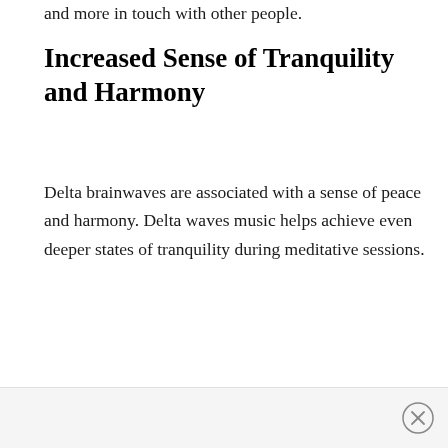and more in touch with other people.
Increased Sense of Tranquility and Harmony
Delta brainwaves are associated with a sense of peace and harmony. Delta waves music helps achieve even deeper states of tranquility during meditative sessions.